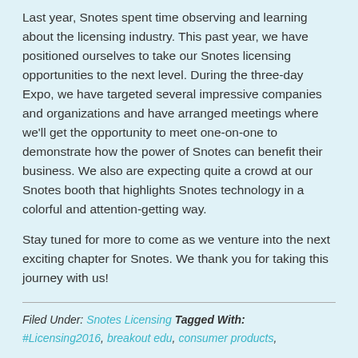Last year, Snotes spent time observing and learning about the licensing industry. This past year, we have positioned ourselves to take our Snotes licensing opportunities to the next level. During the three-day Expo, we have targeted several impressive companies and organizations and have arranged meetings where we'll get the opportunity to meet one-on-one to demonstrate how the power of Snotes can benefit their business. We also are expecting quite a crowd at our Snotes booth that highlights Snotes technology in a colorful and attention-getting way.
Stay tuned for more to come as we venture into the next exciting chapter for Snotes. We thank you for taking this journey with us!
Filed Under: Snotes Licensing Tagged With: #Licensing2016, breakout edu, consumer products,